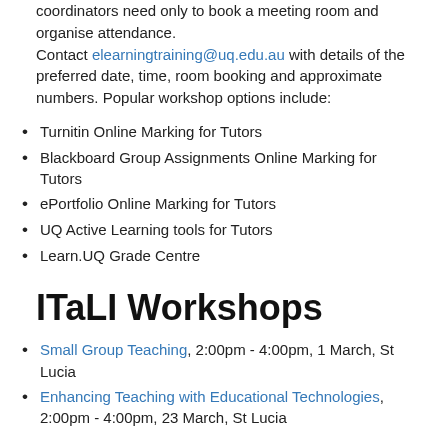coordinators need only to book a meeting room and organise attendance.
Contact elearningtraining@uq.edu.au with details of the preferred date, time, room booking and approximate numbers. Popular workshop options include:
Turnitin Online Marking for Tutors
Blackboard Group Assignments Online Marking for Tutors
ePortfolio Online Marking for Tutors
UQ Active Learning tools for Tutors
Learn.UQ Grade Centre
ITaLI Workshops
Small Group Teaching, 2:00pm - 4:00pm, 1 March, St Lucia
Enhancing Teaching with Educational Technologies, 2:00pm - 4:00pm, 23 March, St Lucia